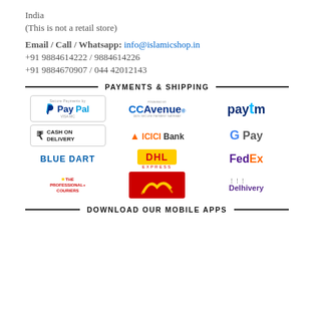India
(This is not a retail store)
Email / Call / Whatsapp: info@islamicshop.in
+91 9884614222 / 9884614226
+91 9884670907 / 044 42012143
PAYMENTS & SHIPPING
[Figure (logo): PayPal secure payments logo]
[Figure (logo): CCAvenue 100% Secure Payment Gateway logo]
[Figure (logo): Paytm logo]
[Figure (logo): Cash on Delivery logo]
[Figure (logo): ICICI Bank logo]
[Figure (logo): Google Pay logo]
[Figure (logo): Blue Dart logo]
[Figure (logo): DHL Express logo]
[Figure (logo): FedEx logo]
[Figure (logo): The Professional+ Couriers logo]
[Figure (logo): India Post logo]
[Figure (logo): Delhivery logo]
DOWNLOAD OUR MOBILE APPS